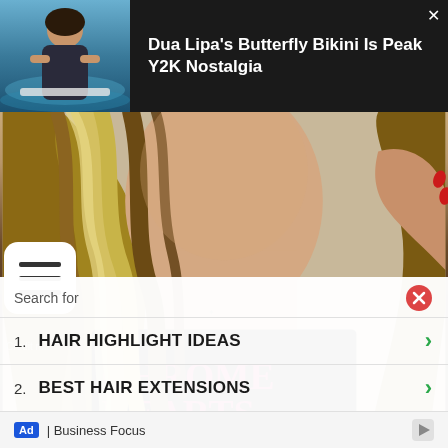[Figure (screenshot): Top ad banner with dark background showing a woman in a bikini near a pool on the left thumbnail, and article title text on the right]
Dua Lipa's Butterfly Bikini Is Peak Y2K Nostalgia
[Figure (photo): Close-up photo of a person with wavy blonde-highlighted hair, wearing a black Chrome Hearts graphic t-shirt with pink lettering]
Search for
1.  HAIR HIGHLIGHT IDEAS
2.  BEST HAIR EXTENSIONS
Ad | Business Focus